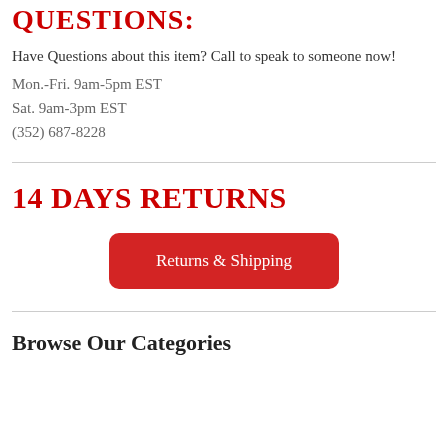QUESTIONS:
Have Questions about this item?  Call to speak to someone now!
Mon.-Fri.  9am-5pm EST
Sat. 9am-3pm EST
(352) 687-8228
14 DAYS RETURNS
Returns & Shipping
Browse Our Categories